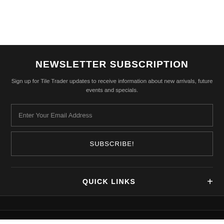NEWSLETTER SUBSCRIPTION
Sign up for Tile Trader updates to receive information about new arrivals, future events and specials.
Enter Your Email Address
SUBSCRIBE!
QUICK LINKS